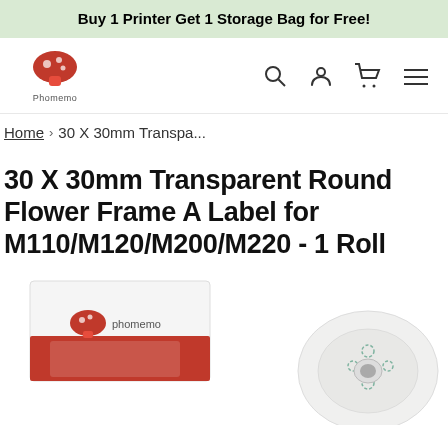Buy 1 Printer Get 1 Storage Bag for Free!
[Figure (logo): Phomemo mushroom logo with brand name text]
Home › 30 X 30mm Transpa...
30 X 30mm Transparent Round Flower Frame A Label for M110/M120/M200/M220 - 1 Roll
[Figure (photo): Product photo showing Phomemo label roll box (white/red) on the left and a roll of transparent flower frame labels on the right]